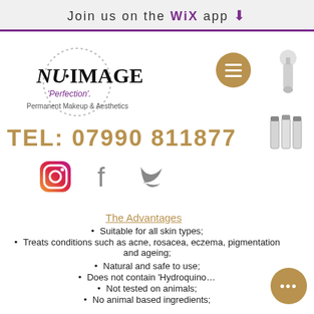Join us on the WiX app ⬇
[Figure (logo): Nu Image logo with dotted circle border, 'Perfection' tagline, Permanent Makeup & Aesthetics subtitle, and golden circular menu button]
[Figure (photo): Skincare/aesthetic device product photo (cream/silver device)]
[Figure (photo): Three skincare pump bottles product photo]
TEL: 07990 811877
[Figure (infographic): Instagram, Facebook, and Twitter social media icons]
The Advantages
Suitable for all skin types;
Treats conditions such as acne, rosacea, eczema, pigmentation and ageing;
Natural and safe to use;
Does not contain 'Hydroquino...
Not tested on animals;
No animal based ingredients;